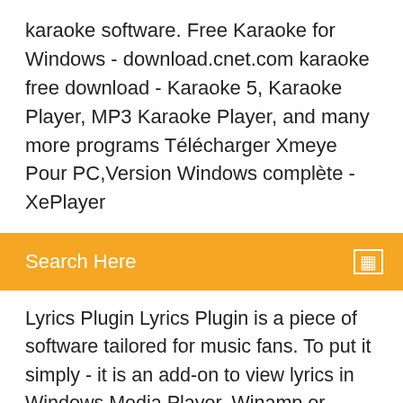karaoke software. Free Karaoke for Windows - download.cnet.com karaoke free download - Karaoke 5, Karaoke Player, MP3 Karaoke Player, and many more programs Télécharger Xmeye Pour PC,Version Windows complète - XePlayer
Search Here
Lyrics Plugin Lyrics Plugin is a piece of software tailored for music fans. To put it simply - it is an add-on to view lyrics in Windows Media Player, Winamp or iTunes. No more ... Karaoke - Sing Unlimited Songs on the App Store Download Karaoke - Sing Unlimited Songs and enjoy it on your iPhone, iPad, and iPod touch. ... Yokee™ is the #1 iPhone app that lets you and your friends to sing karaoke for FREE. Now available in a totally ... Sing to win! ... Why I think this is a good game well, it's way better than smile like come on guys! Did you see ... PCDJ Karaoki Professional Karaoke Software (Instantly MARCHI...